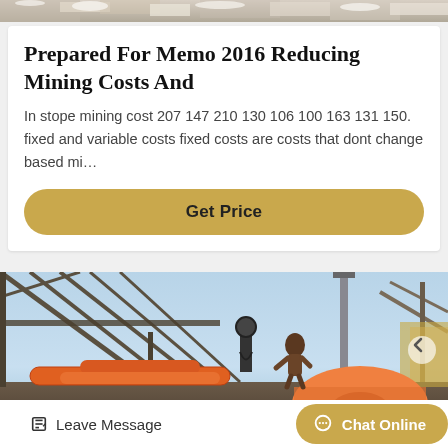[Figure (photo): Top strip of a snowy/rocky terrain landscape image]
Prepared For Memo 2016 Reducing Mining Costs And
In stope mining cost 207 147 210 130 106 100 163 131 150. fixed and variable costs fixed costs are costs that dont change based mi…
[Figure (other): Golden/yellow rounded button labeled Get Price]
[Figure (photo): Industrial mining site with worker on orange pipes and steel framework structure under a blue sky]
[Figure (other): Leave Message button and Chat Online button in the bottom navigation bar]